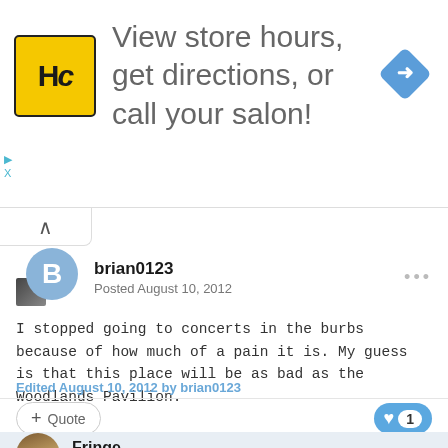[Figure (other): Advertisement banner: HC logo (yellow circle with HC text), text 'View store hours, get directions, or call your salon!', blue diamond arrow icon]
brian0123
Posted August 10, 2012
I stopped going to concerts in the burbs because of how much of a pain it is. My guess is that this place will be as bad as the Woodlands Pavilion.
Edited August 10, 2012 by brian0123
+ Quote   ♥ 1
Fringe
Posted August 11, 2012